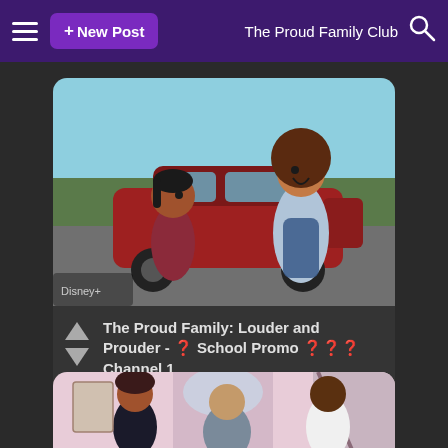+ New Post   The Proud Family Club
[Figure (screenshot): Animated scene from The Proud Family: Louder and Prouder showing two characters by a red car with a light blue sky background]
The Proud Family: Louder and Prouder - 🏫 School Promo 📺📡📻 Channel 1
added by YoungDelmar45
[Figure (screenshot): Animated scene showing three characters in an indoor setting with pink/lavender decor]